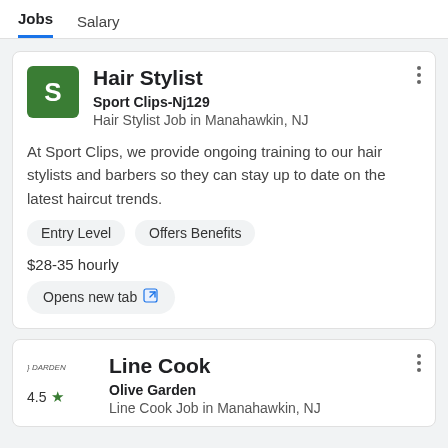Jobs  Salary
Hair Stylist
Sport Clips-Nj129
Hair Stylist Job in Manahawkin, NJ
At Sport Clips, we provide ongoing training to our hair stylists and barbers so they can stay up to date on the latest haircut trends.
Entry Level   Offers Benefits
$28-35 hourly
Opens new tab
Line Cook
Olive Garden
Line Cook Job in Manahawkin, NJ
4.5 ★